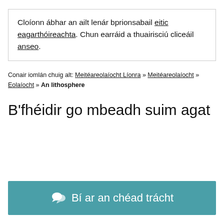Cloíonn ábhar an ailt lenár bprionsabail eitic eagarthóireachta. Chun earráid a thuairisciú cliceáil anseo.
Conair iomlán chuig alt: Meitéareolaíocht Líonra » Meitéareolaíocht » Eolaíocht » An lithosphere
B'fhéidir go mbeadh suim agat
Bí ar an chéad trácht